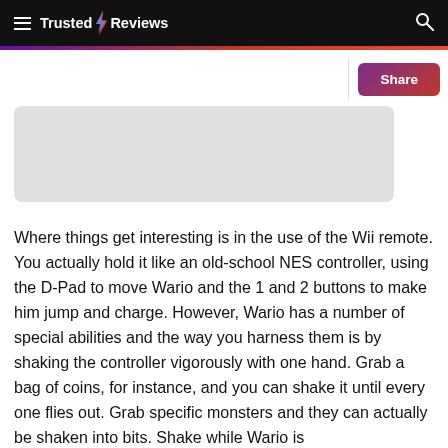Trusted Reviews
[Figure (screenshot): Gray placeholder image box for a game screenshot]
Where things get interesting is in the use of the Wii remote. You actually hold it like an old-school NES controller, using the D-Pad to move Wario and the 1 and 2 buttons to make him jump and charge. However, Wario has a number of special abilities and the way you harness them is by shaking the controller vigorously with one hand. Grab a bag of coins, for instance, and you can shake it until every one flies out. Grab specific monsters and they can actually be shaken into bits. Shake while Wario is